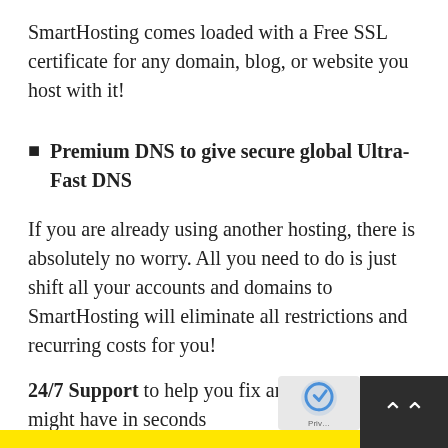SmartHosting comes loaded with a Free SSL certificate for any domain, blog, or website you host with it!
Premium DNS to give secure global Ultra-Fast DNS
If you are already using another hosting, there is absolutely no worry. All you need to do is just shift all your accounts and domains to SmartHosting will eliminate all restrictions and recurring costs for you!
24/7 Support to help you fix any issues you might have in seconds